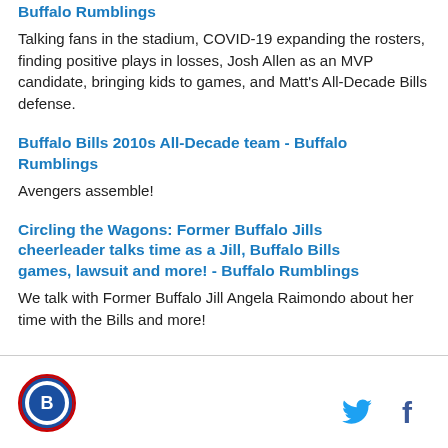Buffalo Rumblings
Talking fans in the stadium, COVID-19 expanding the rosters, finding positive plays in losses, Josh Allen as an MVP candidate, bringing kids to games, and Matt's All-Decade Bills defense.
Buffalo Bills 2010s All-Decade team - Buffalo Rumblings
Avengers assemble!
Circling the Wagons: Former Buffalo Jills cheerleader talks time as a Jill, Buffalo Bills games, lawsuit and more! - Buffalo Rumblings
We talk with Former Buffalo Jill Angela Raimondo about her time with the Bills and more!